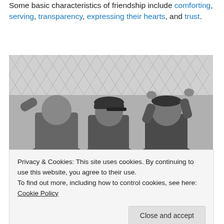Some basic characteristics of friendship include comforting, serving, transparency, expressing their hearts, and trust.
[Figure (photo): Black and white photo of three boys seen from behind, looking through a chain-link fence]
Privacy & Cookies: This site uses cookies. By continuing to use this website, you agree to their use. To find out more, including how to control cookies, see here: Cookie Policy. Close and accept.
...in some cases, it gratefully transmits and shows the...